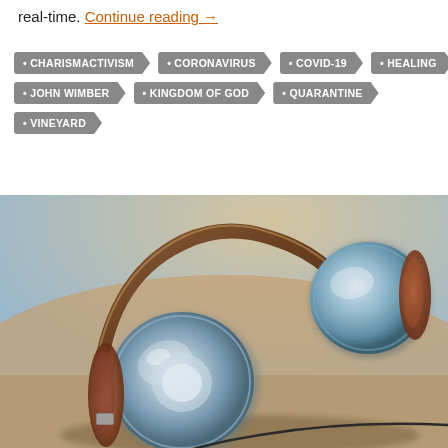real-time. Continue reading →
CHARISMACTIVISM
CORONAVIRUS
COVID-19
HEALING
JOHN WIMBER
KINGDOM OF GOD
QUARANTINE
VINEYARD
[Figure (photo): Close-up photograph of over-ear headphones with brown leather ear cups and silver/chrome earcup housings on a blurred warm-toned surface]